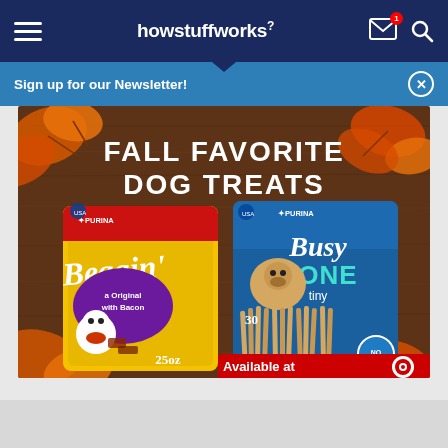howstuffworks
Sign up for our Newsletter!
[Figure (photo): Purina Fall Favorite Dog Treats advertisement showing Beggin' Strips (25oz, Original with Bacon) and Busy Bone Tiny (30 count) dog treats on a wooden table with autumn leaves. Text reads 'FALL FAVORITE DOG TREATS'. Available at Target.]